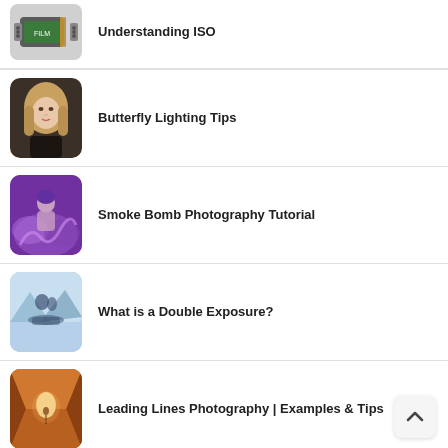Understanding ISO
[Figure (photo): Film roll for Understanding ISO]
Butterfly Lighting Tips
[Figure (photo): Portrait of a young woman for Butterfly Lighting Tips]
Smoke Bomb Photography Tutorial
[Figure (photo): Woman surrounded by purple smoke for Smoke Bomb Photography Tutorial]
What is a Double Exposure?
[Figure (photo): Double exposure photo of couple and landscape]
Leading Lines Photography | Examples & Tips
[Figure (photo): Hallway with warm orange lighting for Leading Lines Photography]